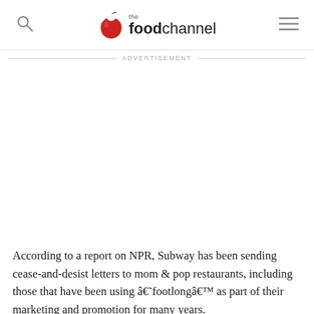the foodchannel
ADVERTISEMENT
According to a report on NPR, Subway has been sending cease-and-desist letters to mom & pop restaurants, including those that have been using â€˜footlongâ€™ as part of their marketing and promotion for many years.